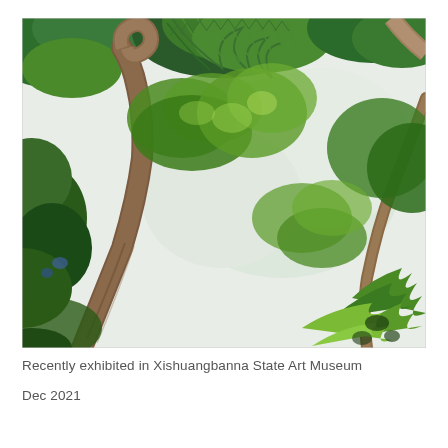[Figure (illustration): A painting viewed from below looking up through a tropical rainforest canopy. The scene shows tall curved palm or tropical tree trunks in the foreground, with lush green foliage, ferns, and various tropical plants filling the upper canopy. The sky is visible as a pale white/light blue background between the leaves. Colors are vivid greens with brown tree trunks.]
Recently exhibited in Xishuangbanna State Art Museum
Dec 2021